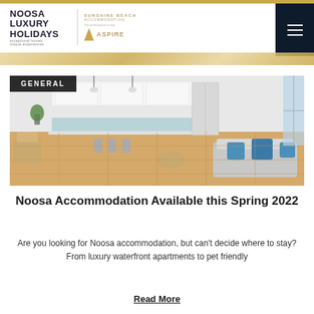Noosa Luxury Holidays | Sunshine Beach Accommodation Aspire
[Figure (photo): Interior photo of a modern luxury apartment showing open-plan kitchen and living room with white cabinetry, blue splashback, bar stools, grey sofa with blue cushions, and floor-to-ceiling windows]
Noosa Accommodation Available this Spring 2022
Are you looking for Noosa accommodation, but can't decide where to stay? From luxury waterfront apartments to pet friendly
Read More